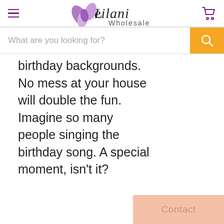Leilani Wholesale
What are you looking for?
birthday backgrounds. No mess at your house will double the fun. Imagine so many people singing the birthday song. A special moment, isn't it?
Contact